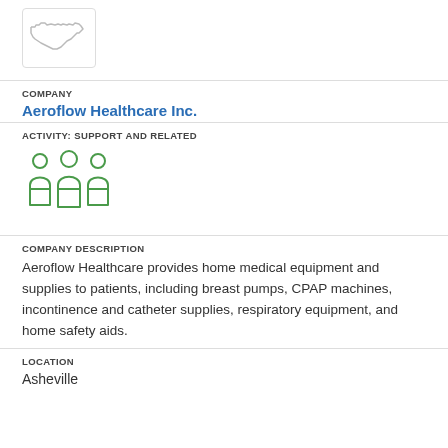[Figure (logo): North Carolina state outline logo in a white box with border]
COMPANY
Aeroflow Healthcare Inc.
ACTIVITY: SUPPORT AND RELATED
[Figure (illustration): Green icon of three people standing side by side]
COMPANY DESCRIPTION
Aeroflow Healthcare provides home medical equipment and supplies to patients, including breast pumps, CPAP machines, incontinence and catheter supplies, respiratory equipment, and home safety aids.
LOCATION
Asheville